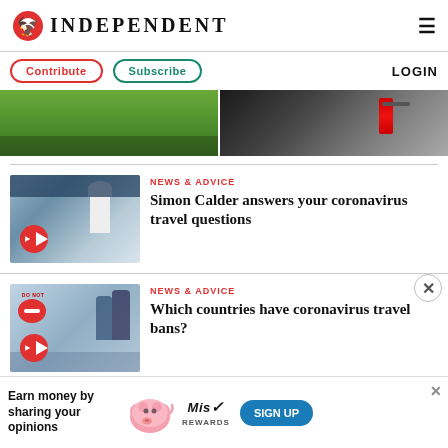INDEPENDENT
Contribute  Subscribe  LOGIN
[Figure (photo): Two photos side by side: left shows green grass near water, right shows items on a wooden surface including a red can and phone]
[Figure (photo): Airport scene with person in white hazmat suit walking past camera crew, red play button overlay]
NEWS & ADVICE
Simon Calder answers your coronavirus travel questions
[Figure (photo): Group of people wearing face masks with DO NOT ENTER sign visible, red play button overlay]
NEWS & ADVICE
Which countries have coronavirus travel bans?
[Figure (infographic): Advertisement banner: Earn money by sharing your opinions - MisRewards sign up offer with pig graphic]